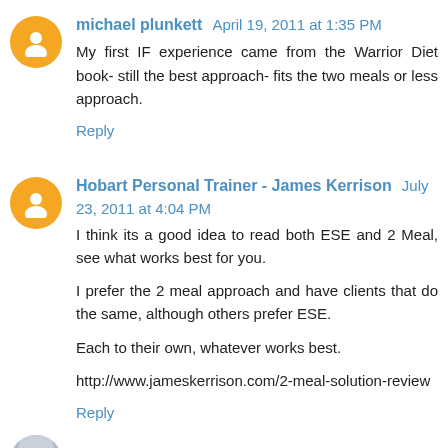michael plunkett  April 19, 2011 at 1:35 PM
My first IF experience came from the Warrior Diet book- still the best approach- fits the two meals or less approach.
Reply
Hobart Personal Trainer - James Kerrison  July 23, 2011 at 4:04 PM
I think its a good idea to read both ESE and 2 Meal, see what works best for you.
I prefer the 2 meal approach and have clients that do the same, although others prefer ESE.
Each to their own, whatever works best.
http://www.jameskerrison.com/2-meal-solution-review
Reply